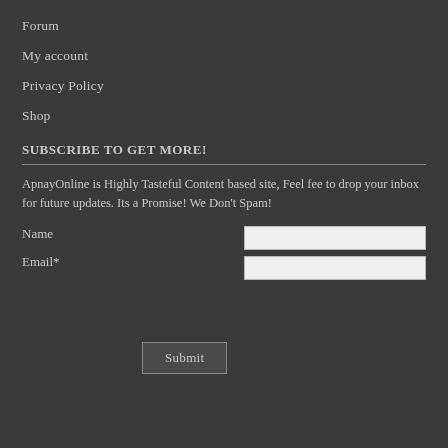Forum
My account
Privacy Policy
Shop
SUBSCRIBE TO GET MORE!
ApnayOnline is Highly Tasteful Content based site, Feel fee to drop your inbox for future updates. Its a Promise! We Don't Spam!
Name
Email*
Submit